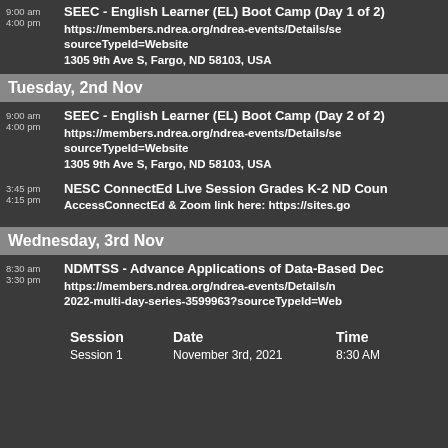9:00 am / 4:00 pm — SEEC - English Learner (EL) Boot Camp (Day 1 of 2) — https://members.ndrea.org/ndrea-events/Details/se sourceTypeId=Website — 1305 9th Ave S, Fargo, ND 58103, USA
Tuesday, 2nd Nov
9:00 am / 4:00 pm — SEEC - English Learner (EL) Boot Camp (Day 2 of 2) — https://members.ndrea.org/ndrea-events/Details/se sourceTypeId=Website — 1305 9th Ave S, Fargo, ND 58103, USA
3:45 pm / 4:15 pm — NESC ConnectEd Live Session Grades K-2 ND Coun — AccessConnectEd & Zoom link here: https://sites.go
Wednesday, 3rd Nov
8:30 am / 3:30 pm — NDMTSS - Advance Applications of Data-Based Dec — https://members.ndrea.org/ndrea-events/Details/n 2022-multi-day-series-3599963?sourceTypeId=Web
| Session | Date | Time |
| --- | --- | --- |
| Session 1 | November 3rd, 2021 | 8:30 AM |